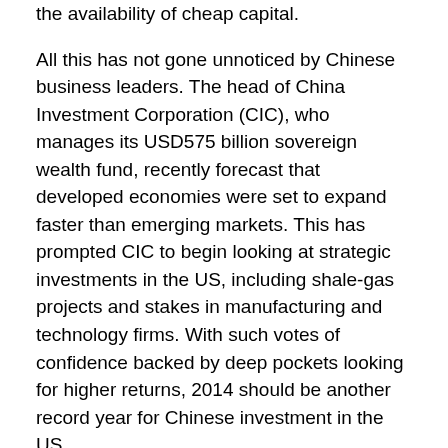the availability of cheap capital.
All this has not gone unnoticed by Chinese business leaders. The head of China Investment Corporation (CIC), who manages its USD575 billion sovereign wealth fund, recently forecast that developed economies were set to expand faster than emerging markets. This has prompted CIC to begin looking at strategic investments in the US, including shale-gas projects and stakes in manufacturing and technology firms. With such votes of confidence backed by deep pockets looking for higher returns, 2014 should be another record year for Chinese investment in the US.
Recommended Links:
The Chinese Are Coming, and It's Going to be Fine, Foreign Policy